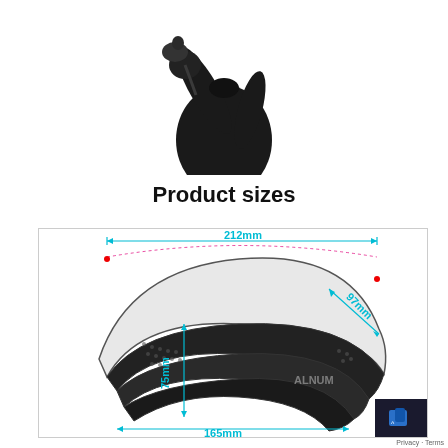[Figure (photo): Person in black clothing holding a small black pouch/bag, cropped to upper body]
Product sizes
[Figure (engineering-diagram): Technical diagram of a curved helmet/headband product showing three dimensions: 212mm width, 97mm height, 75mm inner height, 165mm bottom width. Dimensions shown in cyan/teal with dotted measurement lines and red endpoints.]